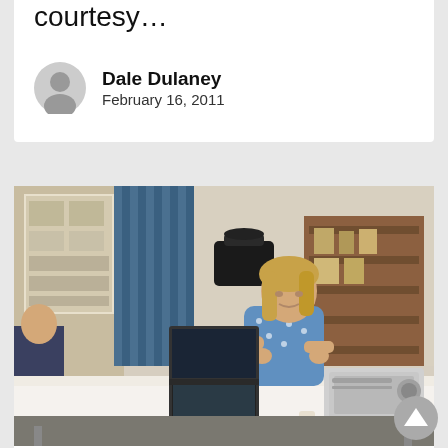courtesy…
Dale Dulaney
February 16, 2011
[Figure (photo): A woman with blonde hair sits at a table covered with a white tablecloth, working on a laptop computer. A projector sits on the table beside the laptop. In the background are blue curtains, a bulletin board with papers, and a wooden shelving unit. Another person is partially visible on the left.]
Digital Projects